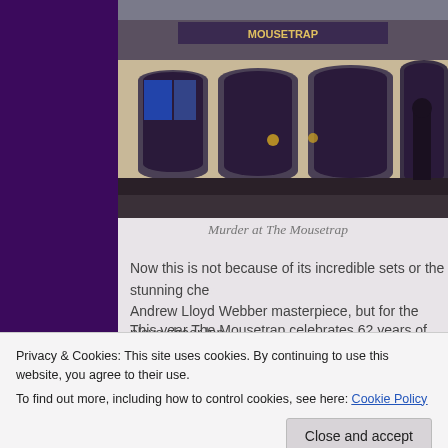[Figure (photo): Exterior photograph of a theatre building (The Mousetrap), showing ornate arched entrance, posters, and a street scene with pedestrians.]
Murder at The Mousetrap
Now this is not because of its incredible sets or the stunning che... Andrew Lloyd Webber masterpiece, but for the plays sheer long...
This year The Mousetrap celebrates 62 years of performing in L... makes it the longest running play, not only in the West End but t...
So with this in mind and as we continue to discover our amazin... decided it was time to pay our respects to this London institution...
Privacy & Cookies: This site uses cookies. By continuing to use this website, you agree to their use.
To find out more, including how to control cookies, see here: Cookie Policy